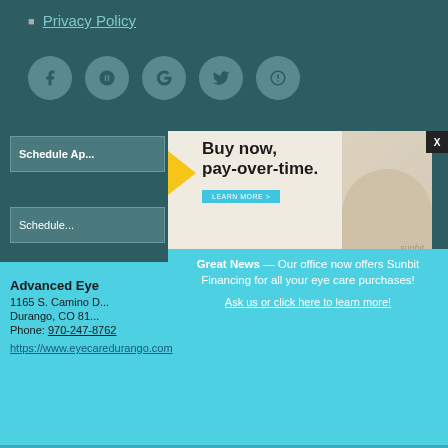Privacy Policy
[Figure (infographic): Row of 5 social media icons (Facebook, Yelp, Google, Twitter, Yelp) as dark circles on teal background]
Schedule Ap...
Schedule...
[Figure (infographic): Sunbit ad: Buy now, pay-over-time. Learn more button. Sunbit logo. Woman smiling.]
Great News — Our office now offers Sunbit Financing for all your eye care purchases! Ask us or click here to learn more!
Advanced Eye
1165 S. Camino D...
Durango, CO 81...
Phone: 970-247-8762
https://www.eyecaredurango.com